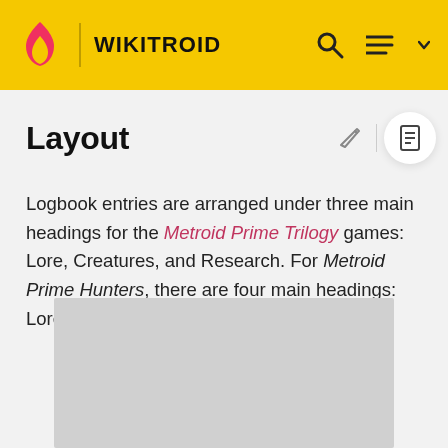WIKITROID
Layout
Logbook entries are arranged under three main headings for the Metroid Prime Trilogy games: Lore, Creatures, and Research. For Metroid Prime Hunters, there are four main headings: Lore, Bioforms, Objects and Equipment.
[Figure (photo): Gray placeholder image rectangle at the bottom of the content area]